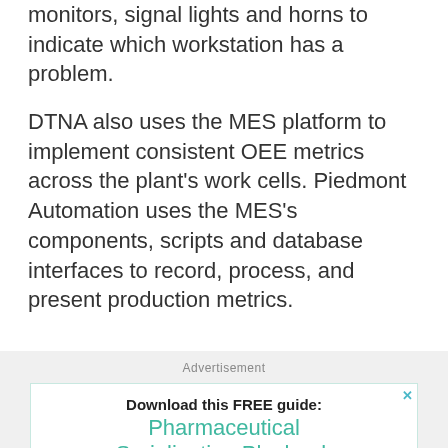Andon system is to call attention with HMI monitors, signal lights and horns to indicate which workstation has a problem.
DTNA also uses the MES platform to implement consistent OEE metrics across the plant's work cells. Piedmont Automation uses the MES's components, scripts and database interfaces to record, process, and present production metrics.
[Figure (other): Advertisement banner for 'Pharmaceutical Serialization Playbook' free guide download, showing a book cover image and a 'Learn More' button in teal/green color.]